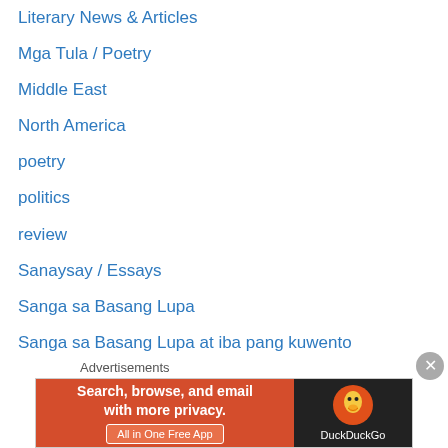Literary News & Articles
Mga Tula / Poetry
Middle East
North America
poetry
politics
review
Sanaysay / Essays
Sanga sa Basang Lupa
Sanga sa Basang Lupa at iba pang kuwento
Silly Babble
Sky for Silent Wings
Sound Before Water
terrorism
The Greater Americas
Uncategorized
Waking up to the pattern left by a snail overnight
Advertisements
[Figure (screenshot): DuckDuckGo advertisement banner: orange left panel with text 'Search, browse, and email with more privacy. All in One Free App' and dark right panel with DuckDuckGo logo]